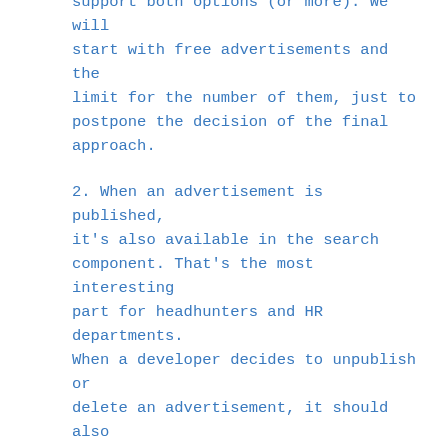support both options (or more). We will start with free advertisements and the limit for the number of them, just to postpone the decision of the final approach.
2. When an advertisement is published, it's also available in the search component. That's the most interesting part for headhunters and HR departments. When a developer decides to unpublish or delete an advertisement, it should also disappear from search results.
3. A recruiter can make an offer to an advertisement. A few interesting requirements kick in here:
• A concrete recruiter can make only a